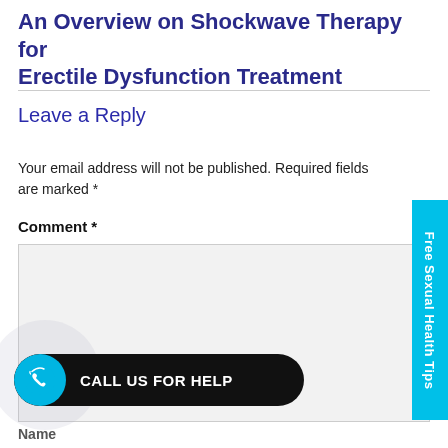An Overview on Shockwave Therapy for Erectile Dysfunction Treatment
Leave a Reply
Your email address will not be published. Required fields are marked *
Comment *
[Figure (screenshot): Comment text area input box (empty), light grey background]
[Figure (screenshot): Cyan vertical sidebar tab reading 'Free Sexual Health Tips']
[Figure (screenshot): Black rounded pill call-to-action button with WhatsApp-style phone icon, text: CALL US FOR HELP]
Name